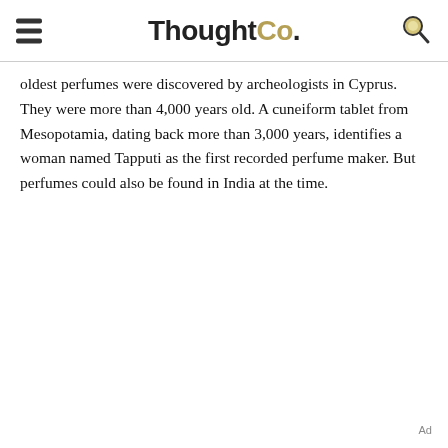ThoughtCo.
oldest perfumes were discovered by archeologists in Cyprus. They were more than 4,000 years old. A cuneiform tablet from Mesopotamia, dating back more than 3,000 years, identifies a woman named Tapputi as the first recorded perfume maker. But perfumes could also be found in India at the time.
Ad